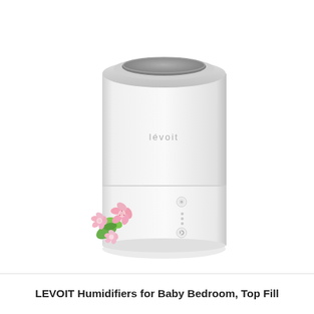[Figure (photo): A white cylindrical Levoit humidifier with a rounded top and gray lid/opening. The body has small control buttons and indicator dots on the front lower section. Decorative pink flowers with green leaves are shown at the lower left of the humidifier.]
LEVOIT Humidifiers for Baby Bedroom, Top Fill